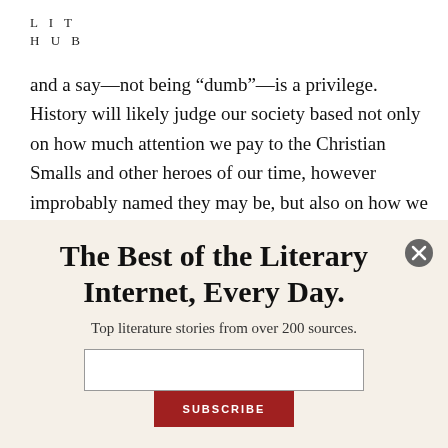LIT
HUB
and a say—not being “dumb”—is a privilege. History will likely judge our society based not only on how much attention we pay to the Christian Smalls and other heroes of our time, however improbably named they may be, but also on how we respond.
The Best of the Literary Internet, Every Day.
Top literature stories from over 200 sources.